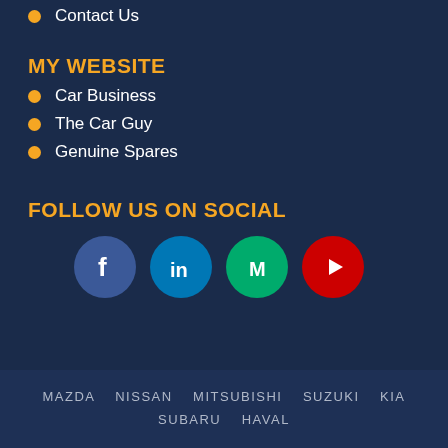Contact Us
MY WEBSITE
Car Business
The Car Guy
Genuine Spares
FOLLOW US ON SOCIAL
[Figure (infographic): Four social media icons in circles: Facebook (dark blue), LinkedIn (blue), Medium (green), YouTube (red)]
MAZDA  NISSAN  MITSUBISHI  SUZUKI  KIA  SUBARU  HAVAL